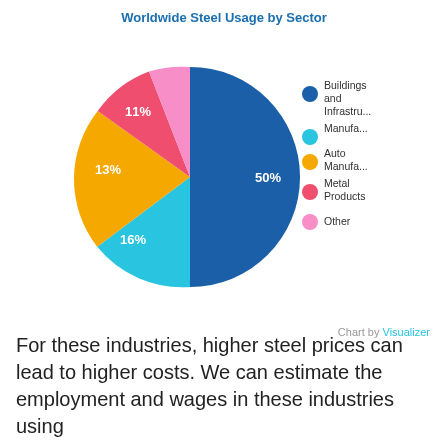[Figure (pie-chart): Worldwide Steel Usage by Sector]
Chart by Visualizer
For these industries, higher steel prices can lead to higher costs. We can estimate the employment and wages in these industries using